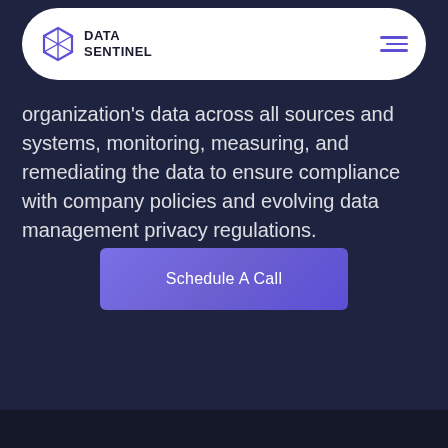DATA SENTINEL
organization's data across all sources and systems, monitoring, measuring, and remediating the data to ensure compliance with company policies and evolving data management privacy regulations.
Schedule A Call